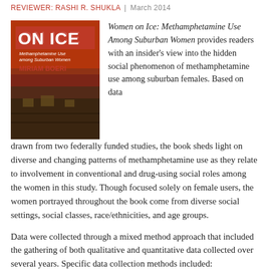Reviewer: Rashi R. Shukla | March 2014
[Figure (photo): Book cover of 'Women on Ice: Methamphetamine Use among Suburban Women' by Miriam Boeri, featuring a dark red/orange background with a house image.]
Women on Ice: Methamphetamine Use Among Suburban Women provides readers with an insider's view into the hidden social phenomenon of methamphetamine use among suburban females. Based on data drawn from two federally funded studies, the book sheds light on diverse and changing patterns of methamphetamine use as they relate to involvement in conventional and drug-using social roles among the women in this study. Though focused solely on female users, the women portrayed throughout the book come from diverse social settings, social classes, race/ethnicities, and age groups.
Data were collected through a mixed method approach that included the gathering of both qualitative and quantitative data collected over several years. Specific data collection methods included: ethnographic participant observations, drug history and life history matrices, audio-recorded in-depth interviews, follow-up interviews, and a focus group interview. In addition to examining the drug use trajectories of female methamphetamine users within the context of their suburban lives, explanations for diverse aspects of the